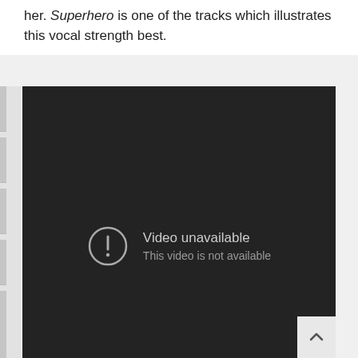her. Superhero is one of the tracks which illustrates this vocal strength best.
[Figure (screenshot): Embedded video player showing 'Video unavailable – This video is not available' error message on a dark background.]